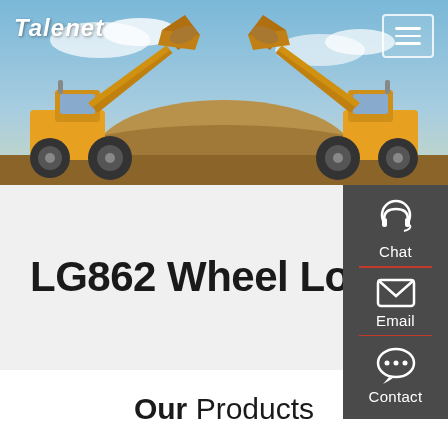[Figure (photo): Hero banner showing two large yellow wheel loaders (LG862) facing each other with raised buckets, against a blue sky and dirt mound background]
Talenet
LG862 Wheel Loader
Our Products